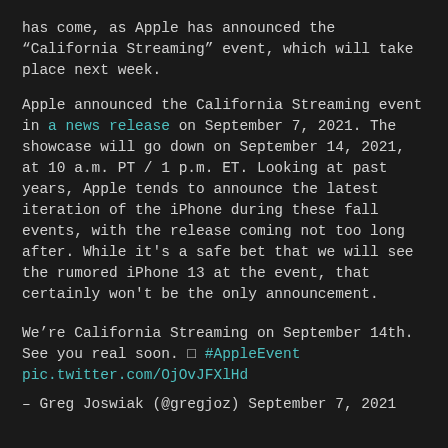has come, as Apple has announced the “California Streaming” event, which will take place next week.
Apple announced the California Streaming event in a news release on September 7, 2021. The showcase will go down on September 14, 2021, at 10 a.m. PT / 1 p.m. ET. Looking at past years, Apple tends to announce the latest iteration of the iPhone during these fall events, with the release coming not too long after. While it’s a safe bet that we will see the rumored iPhone 13 at the event, that certainly won't be the only announcement.
We’re California Streaming on September 14th. See you real soon. □ #AppleEvent pic.twitter.com/OjOvJFXlHd
– Greg Joswiak (@gregjoz) September 7, 2021